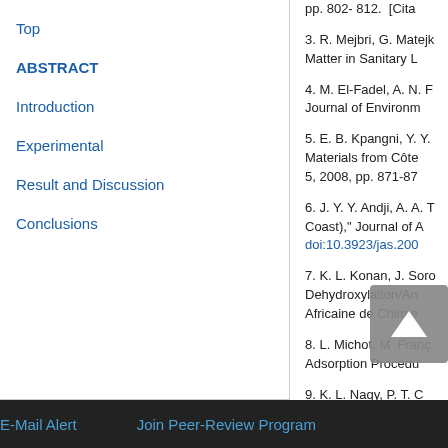pp. 802- 812.  [Cita...
3. R. Mejbri, G. Matejk... Matter in Sanitary L...
4. M. El-Fadel, A. N. F... Journal of Environm...
5. E. B. Kpangni, Y. Y.... Materials from Côte... 5, 2008, pp. 871-87...
6. J. Y. Y. Andji, A. A. T... Coast)," Journal of A... doi:10.3923/jas.200...
7. K. L. Konan, J. Soro... Dehydroxylation/An... Africaine de Chimie...
8. L. Michot, M. Fran... Adsorption Procedu...
9. K. L. Nagy, P. T. C...
Top
ABSTRACT
Introduction
Experimental
Result and Discussion
Conclusions
E-Mail Alert    Join Peer-Review Program